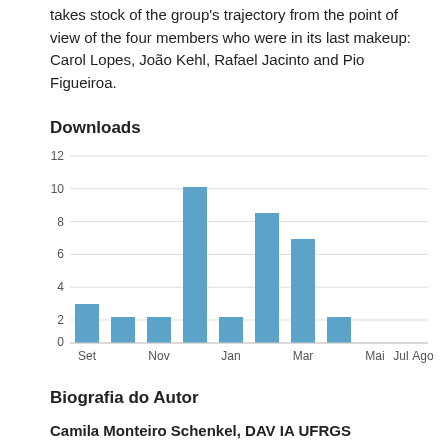takes stock of the group's trajectory from the point of view of the four members who were in its last makeup: Carol Lopes, João Kehl, Rafael Jacinto and Pio Figueiroa.
Downloads
[Figure (bar-chart): Downloads]
Biografia do Autor
Camila Monteiro Schenkel, DAV IA UFRGS